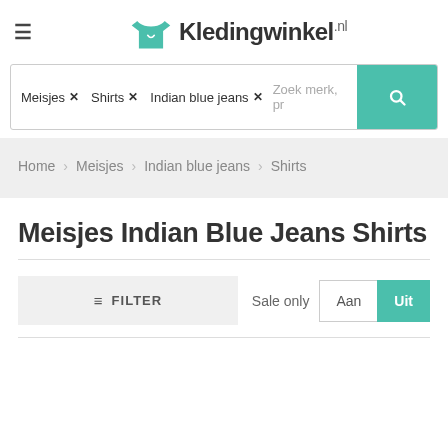Kledingwinkel.nl
Meisjes × Shirts × Indian blue jeans × Zoek merk, pr
Home > Meisjes > Indian blue jeans > Shirts
Meisjes Indian Blue Jeans Shirts
≡ FILTER   Sale only  Aan  Uit